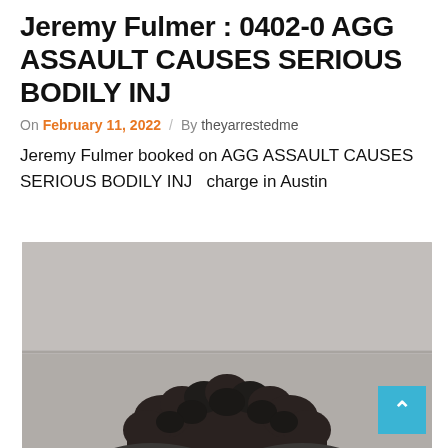Jeremy Fulmer : 0402-0 AGG ASSAULT CAUSES SERIOUS BODILY INJ
On February 11, 2022  /  By theyarrestedme
Jeremy Fulmer booked on AGG ASSAULT CAUSES SERIOUS BODILY INJ  charge in Austin
[Figure (photo): Mugshot booking photo showing the top of a person's head with dark curly hair against a grey cinder-block wall background.]